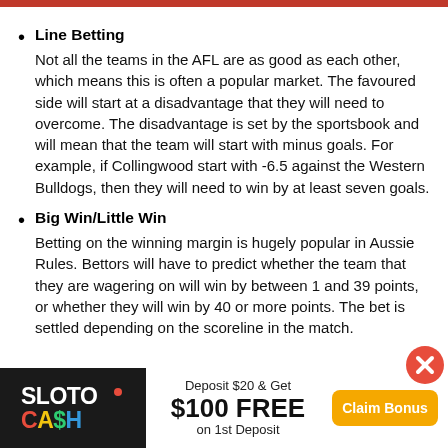Line Betting
Not all the teams in the AFL are as good as each other, which means this is often a popular market. The favoured side will start at a disadvantage that they will need to overcome. The disadvantage is set by the sportsbook and will mean that the team will start with minus goals. For example, if Collingwood start with -6.5 against the Western Bulldogs, then they will need to win by at least seven goals.
Big Win/Little Win
Betting on the winning margin is hugely popular in Aussie Rules. Bettors will have to predict whether the team that they are wagering on will win by between 1 and 39 points, or whether they will win by 40 or more points. The bet is settled depending on the scoreline in the match.
[Figure (infographic): SlotoCash casino advertisement banner. Left: SlotoCash logo on dark background. Center: 'Deposit $20 & Get $100 FREE on 1st Deposit' on white background. Right: Orange 'Claim Bonus' button. Red close (X) circle in top-right corner of banner.]